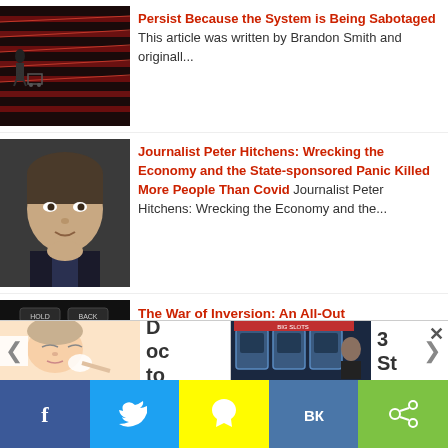[Figure (photo): Empty supermarket shelves, wide angle shot with a person and shopping cart in background]
Persist Because the System is Being Sabotaged This article was written by Brandon Smith and originall...
[Figure (photo): Portrait of journalist Peter Hitchens, serious expression, dark suit]
Journalist Peter Hitchens: Wrecking the Economy and the State-sponsored Panic Killed More People Than Covid Journalist Peter Hitchens: Wrecking the Economy and the...
[Figure (photo): Dark image with text 'HOLD BACK']
The War of Inversion: An All-Out
[Figure (illustration): Illustration of a woman applying skincare/makeup]
Doc
to
[Figure (photo): Casino slot machines with a man standing nearby]
3
St
f  twitter  snapchat  VK  share